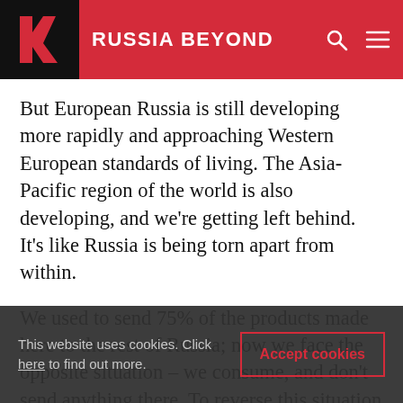RUSSIA BEYOND
But European Russia is still developing more rapidly and approaching Western European standards of living. The Asia-Pacific region of the world is also developing, and we're getting left behind. It's like Russia is being torn apart from within.
We used to send 75% of the products made here to the rest of Russia; now we face the opposite situation – we consume, and don't send anything there. To reverse this situation we need to free new businesses from taxes until they become
This website uses cookies. Click here to find out more.
Accept cookies